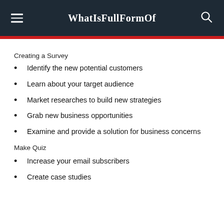WhatIsFullFormOf
Creating a Survey
Identify the new potential customers
Learn about your target audience
Market researches to build new strategies
Grab new business opportunities
Examine and provide a solution for business concerns
Make Quiz
Increase your email subscribers
Create case studies